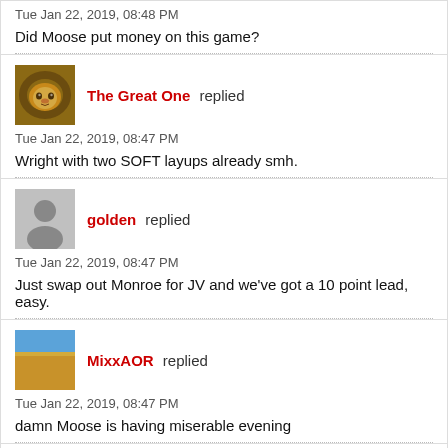Tue Jan 22, 2019, 08:48 PM
Did Moose put money on this game?
The Great One replied
Tue Jan 22, 2019, 08:47 PM
Wright with two SOFT layups already smh.
golden replied
Tue Jan 22, 2019, 08:47 PM
Just swap out Monroe for JV and we've got a 10 point lead, easy.
MixxAOR replied
Tue Jan 22, 2019, 08:47 PM
damn Moose is having miserable evening
Maury replied